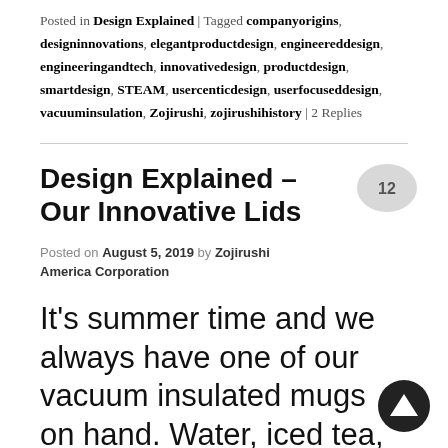Posted in Design Explained | Tagged companyorigins, designinnovations, elegantproductdesign, engineereddesign, engineeringandtech, innovativedesign, productdesign, smartdesign, STEAM, usercentrirdesign, userfocuseddesign, vacuuminsulation, Zojirushi, zojirushihistory | 2 Replies
Design Explained – Our Innovative Lids
Posted on August 5, 2019 by Zojirushi America Corporation
It's summer time and we always have one of our vacuum insulated mugs on hand. Water, iced tea, hot